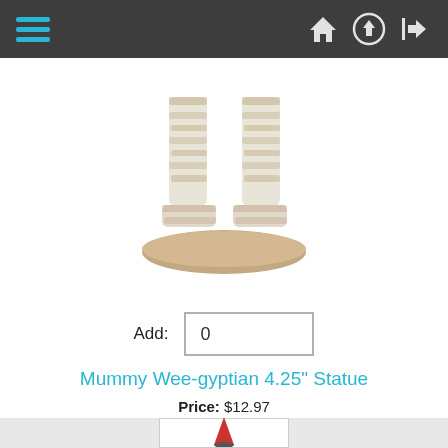[Figure (screenshot): Dark navigation bar with hamburger menu (three cyan horizontal lines) on left and three icons (home, upload, login arrow) on right]
[Figure (photo): Lower half of a mummy figurine statue showing wrapped legs and circular base on white background]
Add: 0
Mummy Wee-gyptian 4.25" Statue
Price: $12.97
Adorable 4.25-inch tall mini-statue of a wrapped spooky mummy on a 2-inch circular base. Cold cast resin.
[Figure (photo): Bottom portion of page showing a light gray background with the top of another product (red cone shape on dark base) partially visible]